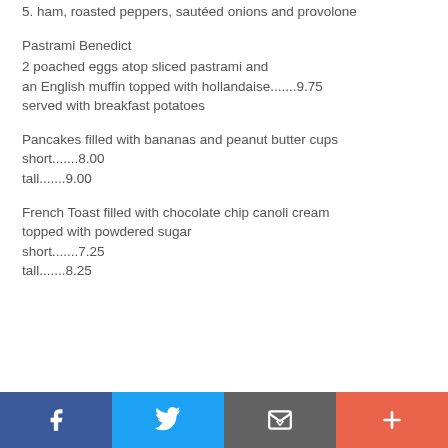5. ham, roasted peppers, sautéed onions and provolone
Pastrami Benedict
2 poached eggs atop sliced pastrami and an English muffin topped with hollandaise.......9.75 served with breakfast potatoes
Pancakes filled with bananas and peanut butter cups short.......8.00 tall.......9.00
French Toast filled with chocolate chip canoli cream topped with powdered sugar short.......7.25 tall.......8.25